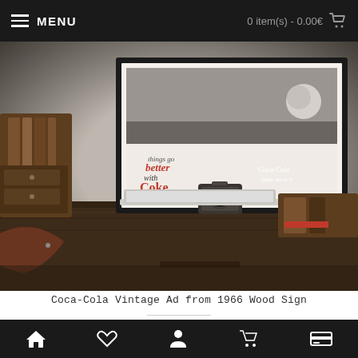MENU   0 item(s) - 0.00€
[Figure (photo): A desk scene showing a Coca-Cola vintage 1966 advertisement poster in a frame on the wall, with a wooden chair, camera, MacBook, and desk organizers on a wooden table against a white brick wall.]
Coca-Cola Vintage Ad from 1966 Wood Sign
45.00€
ADD TO CART
Home | Wishlist | Account | Cart | Payment